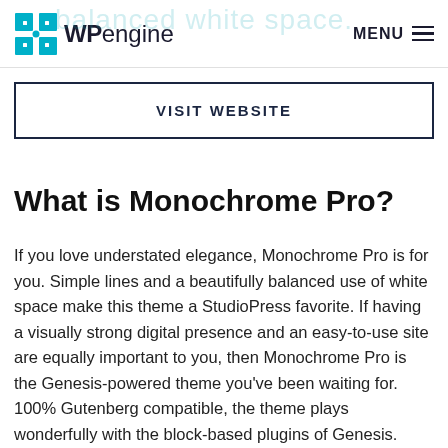WPengine  MENU
VISIT WEBSITE
What is Monochrome Pro?
If you love understated elegance, Monochrome Pro is for you. Simple lines and a beautifully balanced use of white space make this theme a StudioPress favorite. If having a visually strong digital presence and an easy-to-use site are equally important to you, then Monochrome Pro is the Genesis-powered theme you've been waiting for. 100% Gutenberg compatible, the theme plays wonderfully with the block-based plugins of Genesis.